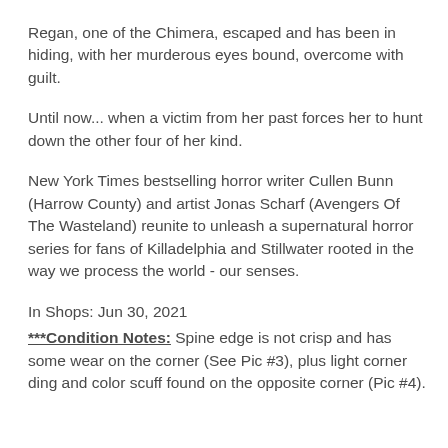Regan, one of the Chimera, escaped and has been in hiding, with her murderous eyes bound, overcome with guilt.
Until now... when a victim from her past forces her to hunt down the other four of her kind.
New York Times bestselling horror writer Cullen Bunn (Harrow County) and artist Jonas Scharf (Avengers Of The Wasteland) reunite to unleash a supernatural horror series for fans of Killadelphia and Stillwater rooted in the way we process the world - our senses.
In Shops: Jun 30, 2021
***Condition Notes: Spine edge is not crisp and has some wear on the corner (See Pic #3), plus light corner ding and color scuff found on the opposite corner (Pic #4).